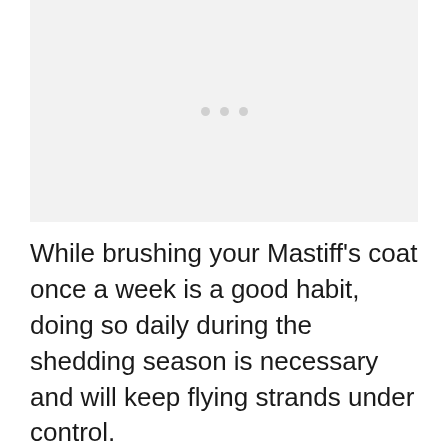[Figure (photo): Placeholder image area with three small gray dots centered, indicating a loading or missing image of a Mastiff dog.]
While brushing your Mastiff's coat once a week is a good habit, doing so daily during the shedding season is necessary and will keep flying strands under control.
Owners can use a rubber bound glove